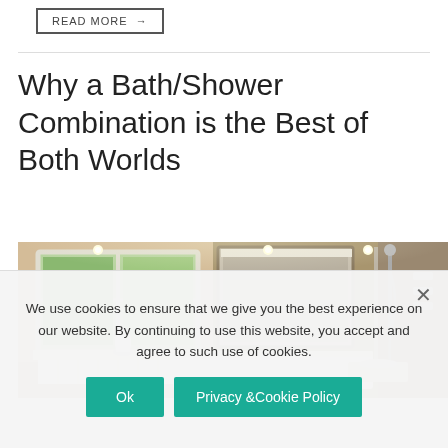READ MORE →
Why a Bath/Shower Combination is the Best of Both Worlds
[Figure (photo): Modern bathroom interior with a white bathtub, large window with green view outside, a large mirror, and a shower with glass screen on the right. Warm beige/tan walls.]
We use cookies to ensure that we give you the best experience on our website. By continuing to use this website, you accept and agree to such use of cookies.
Ok
Privacy &Cookie Policy